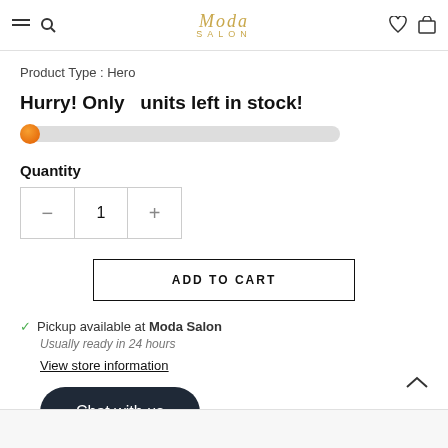Moda Salon
Product Type : Hero
Hurry! Only   units left in stock!
Quantity
1
ADD TO CART
Pickup available at Moda Salon
Usually ready in 24 hours
View store information
Chat with us